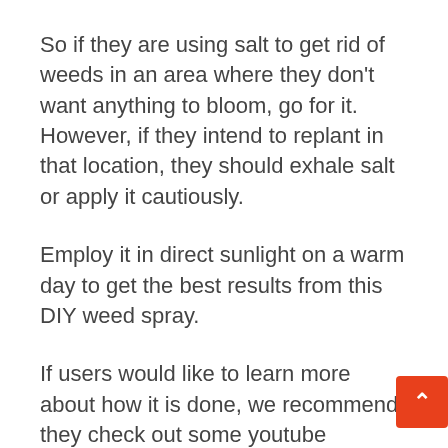So if they are using salt to get rid of weeds in an area where they don't want anything to bloom, go for it. However, if they intend to replant in that location, they should exhale salt or apply it cautiously.
Employ it in direct sunlight on a warm day to get the best results from this DIY weed spray.
If users would like to learn more about how it is done, we recommend they check out some youtube tutorials. Meanwhile here's a tried-and-true standard recipe preparing it in huge quantities.